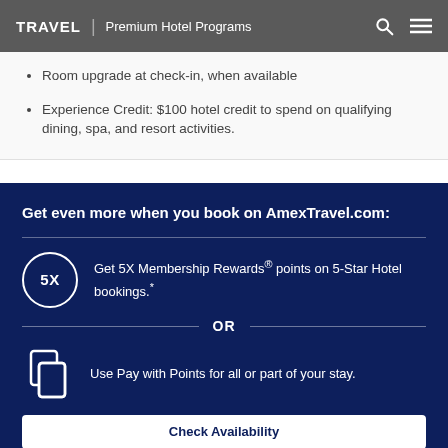TRAVEL | Premium Hotel Programs
Room upgrade at check-in, when available
Experience Credit: $100 hotel credit to spend on qualifying dining, spa, and resort activities.
Get even more when you book on AmexTravel.com:
Get 5X Membership Rewards® points on 5-Star Hotel bookings.*
OR
Use Pay with Points for all or part of your stay.
Check Availability